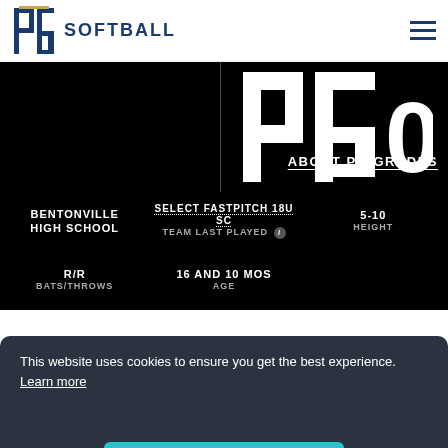PG SOFTBALL
[Figure (logo): PG Softball logo with large PG text and grade indicator on black background]
ABOUT PG GRADES
BENTONVILLE HIGH SCHOOL
SELECT FASTPITCH 18U SC TEAM LAST PLAYED
5-10 HEIGHT
R/R BATS/THROWS
16 AND 10 MOS AGE
This website uses cookies to ensure you get the best experience. Learn more
Got it!